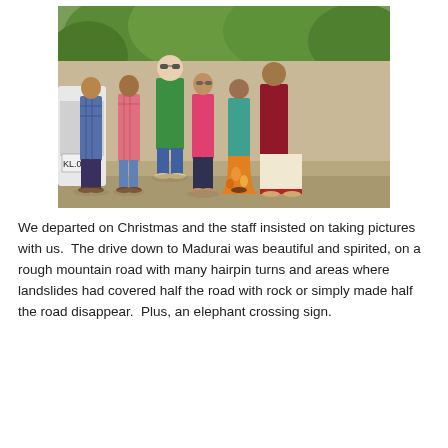[Figure (photo): Group photo of six people standing outdoors in front of a car (license plate visible: KL.0-) and green trees. From left to right: a man in a blue plaid shirt, a man in a pink striped shirt and jeans, a tall man in a green t-shirt and blue shorts, a woman in a pink t-shirt and dark jeans, a woman in a teal/green blouse with an orange floral skirt, and a woman in a dark red/maroon blouse with a cream and red sari.]
We departed on Christmas and the staff insisted on taking pictures with us.  The drive down to Madurai was beautiful and spirited, on a rough mountain road with many hairpin turns and areas where landslides had covered half the road with rock or simply made half the road disappear.  Plus, an elephant crossing sign.